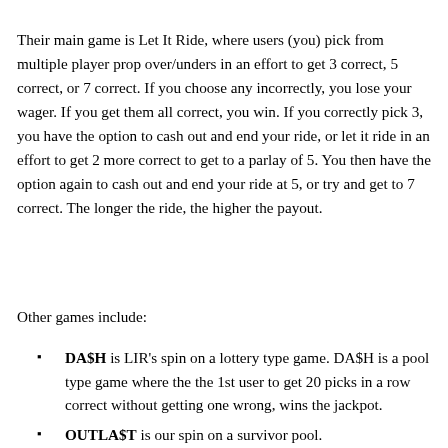Their main game is Let It Ride, where users (you) pick from multiple player prop over/unders in an effort to get 3 correct, 5 correct, or 7 correct. If you choose any incorrectly, you lose your wager. If you get them all correct, you win. If you correctly pick 3, you have the option to cash out and end your ride, or let it ride in an effort to get 2 more correct to get to a parlay of 5. You then have the option again to cash out and end your ride at 5, or try and get to 7 correct. The longer the ride, the higher the payout.
Other games include:
DA$H is LIR's spin on a lottery type game. DA$H is a pool type game where the the 1st user to get 20 picks in a row correct without getting one wrong, wins the jackpot.
OUTLA$T is our spin on a survivor pool.